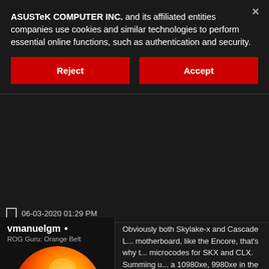ASUSTeK COMPUTER INC. and its affiliated entities companies use cookies and similar technologies to perform essential online functions, such as authentication and security.
Reject
Accept
06-03-2020 01:29 PM
vmanuelgm •
ROG Guru: Orange Belt
[Figure (photo): Circular avatar image resembling the surface of the sun with orange, red, and yellow tones]
| Join Date: | Sep 2013 |
| Reputation: | 50 |
| Posts: | 345 |
Obviously both Skylake-x and Cascade L... motherboard, like the Encore, that's why t... microcodes for SKX and CLX. Summing u... a 10980xe, 9980xe in the middle. 7980xe... while 10980xe is a Cascade Lake-X CPU...
Latest microcode for SKX is 6906, and F0...
With the latest Windows Update, version ... microcodes, previous ones don't make se... adress vulnerabilities at the same time pe... much as possible.
Currently using 6906 (7980xe) in my Ome... firmwares, and quite happy with it in Win1...